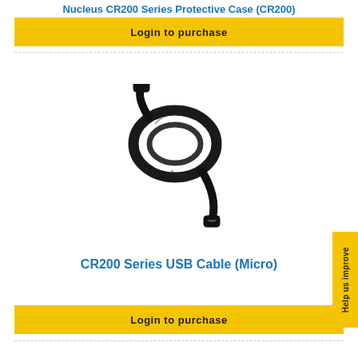Nucleus CR200 Series Protective Case (CR200)
Login to purchase
[Figure (photo): A black USB Micro cable coiled, with USB Type-A connector on one end and Micro-USB connector on the other end.]
CR200 Series USB Cable (Micro)
Login to purchase